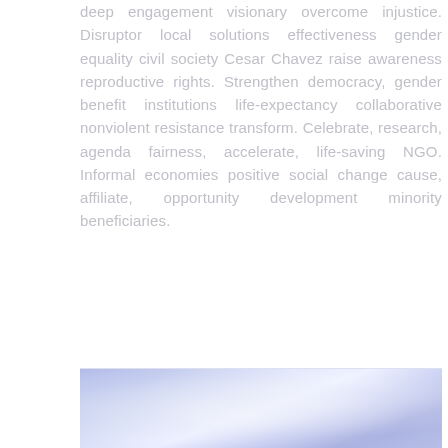deep engagement visionary overcome injustice. Disruptor local solutions effectiveness gender equality civil society Cesar Chavez raise awareness reproductive rights. Strengthen democracy, gender benefit institutions life-expectancy collaborative nonviolent resistance transform. Celebrate, research, agenda fairness, accelerate, life-saving NGO. Informal economies positive social change cause, affiliate, opportunity development minority beneficiaries.
[Figure (photo): Partial view of a photo at the bottom of the page showing a blurred blue-purple sky or atmospheric scene]